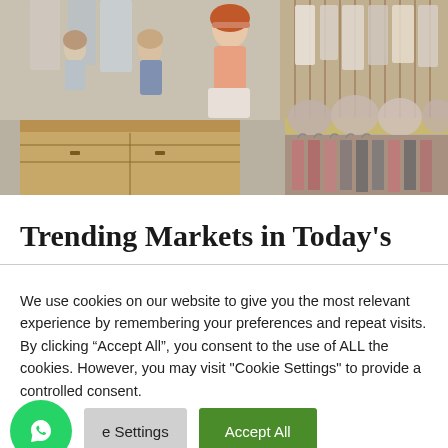[Figure (photo): Interior of a children's clothing store with mannequin dolls on a wooden counter, hanging garments on racks, and shelves with accessories.]
Trending Markets in Today's
We use cookies on our website to give you the most relevant experience by remembering your preferences and repeat visits. By clicking “Accept All”, you consent to the use of ALL the cookies. However, you may visit "Cookie Settings" to provide a controlled consent.